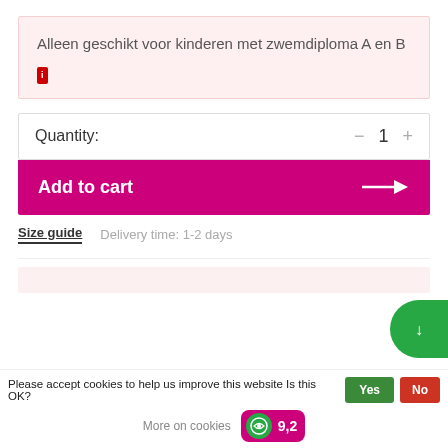Alleen geschikt voor kinderen met zwemdiploma A en B
[Figure (other): Red icon/badge with 'i' symbol]
Quantity: - 1 +
Add to cart →
Size guide   Delivery time: 1-2 days
Please accept cookies to help us improve this website Is this OK?
Yes
No
More on cookies
9,2